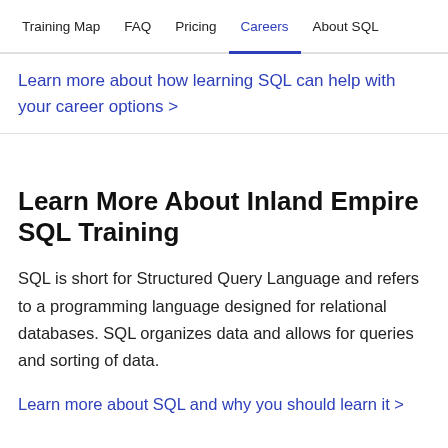Training Map   FAQ   Pricing   Careers   About SQL
Learn more about how learning SQL can help with your career options >
Learn More About Inland Empire SQL Training
SQL is short for Structured Query Language and refers to a programming language designed for relational databases. SQL organizes data and allows for queries and sorting of data.
Learn more about SQL and why you should learn it >